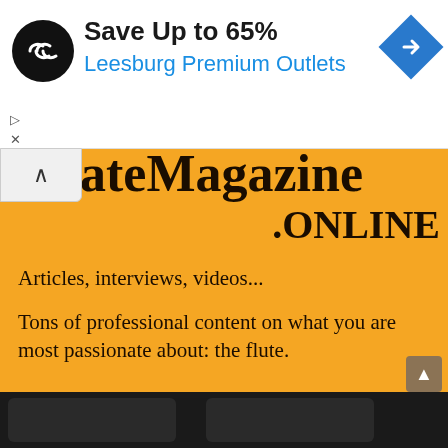[Figure (screenshot): Advertisement banner: black circle logo with double arrow, 'Save Up to 65%' in bold black, 'Leesburg Premium Outlets' in blue, blue diamond navigation icon on right. Small play and X controls at bottom left.]
...ateMagazine .ONLINE
Articles, interviews, videos...
Tons of professional content on what you are most passionate about: the flute.
We offer special agreements for schools.
Subscribe!
[Figure (screenshot): Two black device (tablet/phone) images partially visible at bottom of page.]